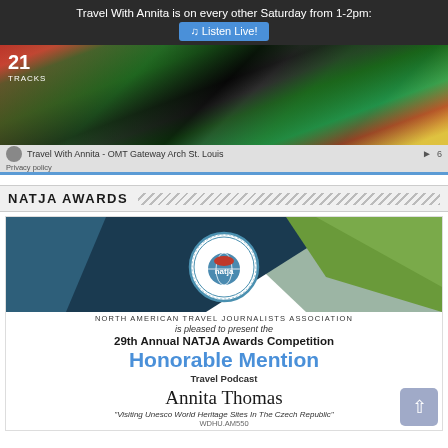Travel With Annita is on every other Saturday from 1-2pm: 🎵 Listen Live!
[Figure (screenshot): Media player widget showing 21 TRACKS with colorful artwork and track 'Travel With Annita - OMT Gateway Arch St. Louis' playing, with Privacy policy link]
NATJA AWARDS
[Figure (illustration): NATJA award certificate image. Geometric blue and green background with NATJA logo circle. Text: NORTH AMERICAN TRAVEL JOURNALISTS ASSOCIATION is pleased to present the 29th Annual NATJA Awards Competition Honorable Mention Travel Podcast Annita Thomas 'Visiting Unesco World Heritage Sites In The Czech Republic']